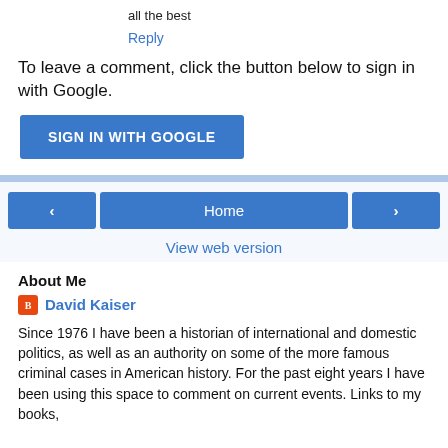all the best
Reply
To leave a comment, click the button below to sign in with Google.
SIGN IN WITH GOOGLE
‹
Home
›
View web version
About Me
David Kaiser
Since 1976 I have been a historian of international and domestic politics, as well as an authority on some of the more famous criminal cases in American history. For the past eight years I have been using this space to comment on current events. Links to my books,